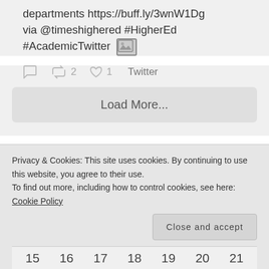departments https://buff.ly/3wnW1Dg via @timeshighered #HigherEd #AcademicTwitter [image icon]
0 retweets 2 likes 1 Twitter
Load More...
View by Date
Privacy & Cookies: This site uses cookies. By continuing to use this website, you agree to their use.
To find out more, including how to control cookies, see here: Cookie Policy
Close and accept
15 16 17 18 19 20 21